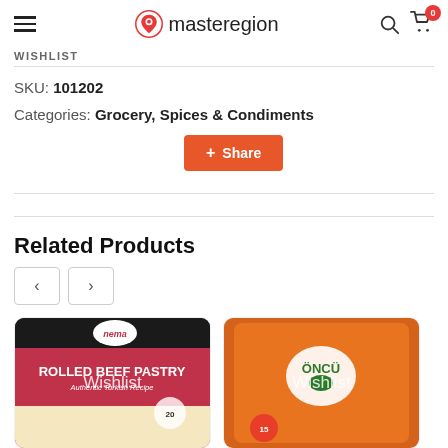masteregion — hamburger menu, search, cart (0)
WISHLIST
SKU: 101202
Categories: Grocery, Spices & Condiments
Share
Related Products
[Figure (photo): Product card: Nema Rolled Beef Pastry - Authentic Turkish Recipe, with Wishlist overlay]
[Figure (photo): Product card: Oncu brand product in orange packaging, with Wishlist overlay]